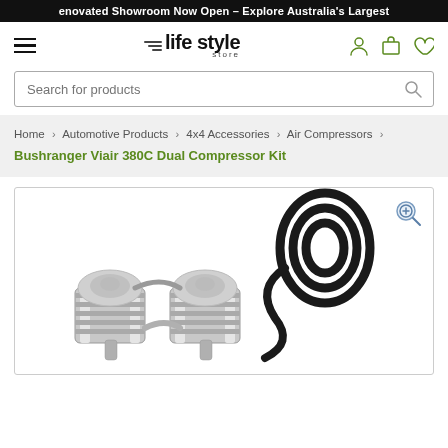enovated Showroom Now Open – Explore Australia's Largest
[Figure (logo): Life Style Store logo with hamburger menu, stylized parallel lines, and nav icons (user, cart, wishlist)]
Search for products
Home > Automotive Products > 4x4 Accessories > Air Compressors > Bushranger Viair 380C Dual Compressor Kit
[Figure (photo): Bushranger Viair 380C Dual Compressor Kit product image showing two chrome compressor units with black hose coiled behind them, on a white background]